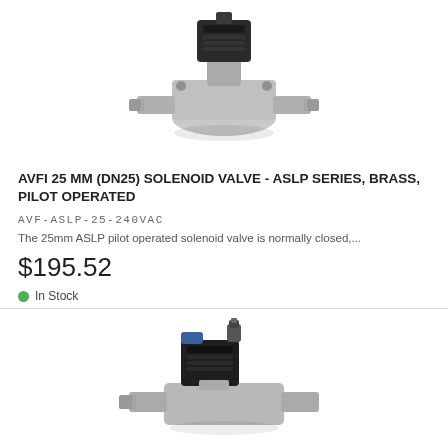[Figure (photo): Stainless steel solenoid valve with black coil/actuator on top, ASLP series, 25mm DN25, threaded ports on both sides, pilot operated type]
AVFI 25 MM (DN25) SOLENOID VALVE - ASLP SERIES, BRASS, PILOT OPERATED
AVF-ASLP-25-240VAC
The 25mm ASLP pilot operated solenoid valve is normally closed,...
$195.52
In Stock
[Figure (photo): Second solenoid valve product, compact body with black coil, additional pneumatic fitting on top, stainless steel body, partially visible]